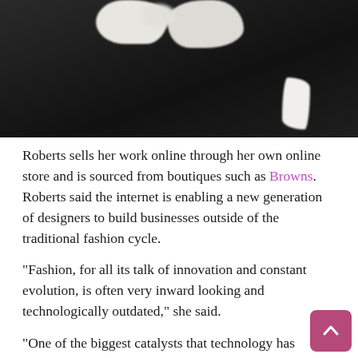[Figure (photo): Close-up photo of a black knit sweater with white sherpa/fluffy fabric patches forming a butterfly or star shape at the top, on a light background. A small white shape visible at the bottom right.]
Roberts sells her work online through her own online store and is sourced from boutiques such as Browns. Roberts said the internet is enabling a new generation of designers to build businesses outside of the traditional fashion cycle.
“Fashion, for all its talk of innovation and constant evolution, is often very inward looking and technologically outdated,” she said.
“One of the biggest catalysts that technology has offered to fashion is the ability for young, up-and-coming designers to create relatively inexpensive e-commerce stores and create an online community to which they can sell their wares and spark interest via social media. As a result, there are many new fashion business models emerging and